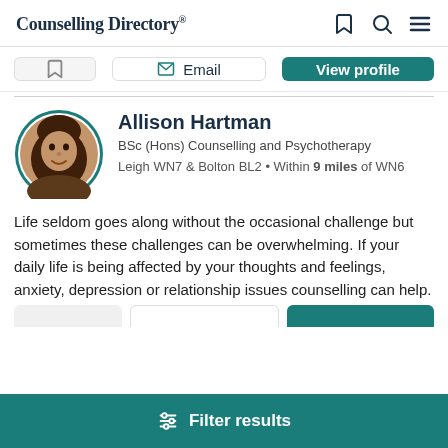Counselling Directory*
Email | View profile
Allison Hartman
BSc (Hons) Counselling and Psychotherapy
Leigh WN7 & Bolton BL2 • Within 9 miles of WN6
Life seldom goes along without the occasional challenge but sometimes these challenges can be overwhelming. If your daily life is being affected by your thoughts and feelings, anxiety, depression or relationship issues counselling can help.
Filter results